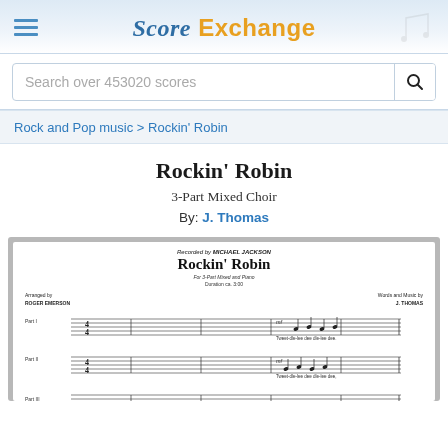Score Exchange
Search over 453020 scores
Rock and Pop music > Rockin' Robin
Rockin' Robin
3-Part Mixed Choir
By: J. Thomas
[Figure (illustration): Sheet music preview of Rockin' Robin arranged by Roger Emerson, recorded by Michael Jackson, for 3-Part Mixed Choir and Piano. Shows first few measures with Part I, Part II, and Part III staves.]